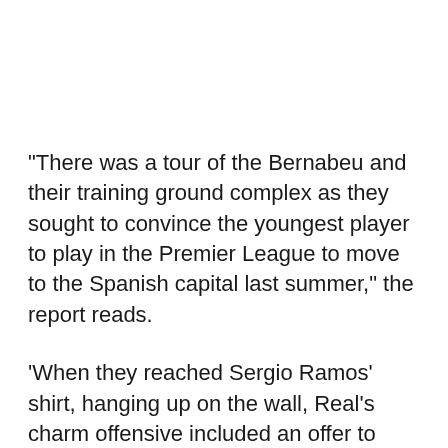“There was a tour of the Bernabeu and their training ground complex as they sought to convince the youngest player to play in the Premier League to move to the Spanish capital last summer,” the report reads.
‘When they reached Sergio Ramos’ shirt, hanging up on the wall, Real’s charm offensive included an offer to arrange for the talented teenager to meet their long-serving captain.
“‘No, it’s OK, thanks,’ Elliott replied. ‘I don’t like him after what he did to Mo Salah.’”